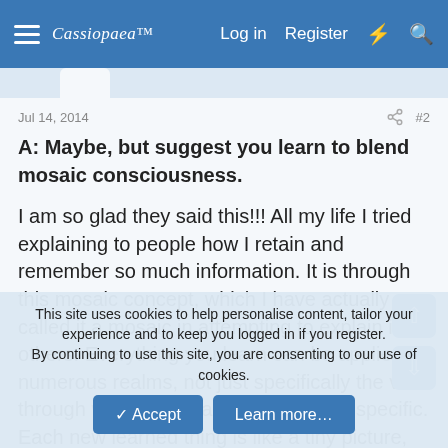Cassiopaea Log in Register
Jul 14, 2014   #2
A: Maybe, but suggest you learn to blend mosaic consciousness.

I am so glad they said this!!! All my life I tried explaining to people how I retain and remember so much information. It is through this mosaic concept, which I have actually called it a mosaic in attempting to explain it to others. Everything you learn can be applied in numerous realms, not just specifically the vein through which you learned something specific. Each new learned thing is like a tiny picture, which when placed within and amongst all the other "smaller
This site uses cookies to help personalise content, tailor your experience and to keep you logged in if you register.
By continuing to use this site, you are consenting to our use of cookies.
✓ Accept   Learn more…